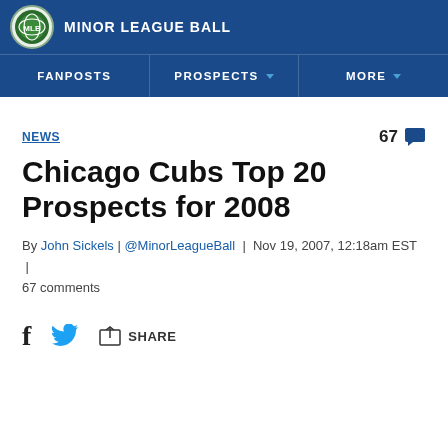MINOR LEAGUE BALL
FANPOSTS | PROSPECTS | MORE
NEWS
67
Chicago Cubs Top 20 Prospects for 2008
By John Sickels | @MinorLeagueBall | Nov 19, 2007, 12:18am EST | 67 comments